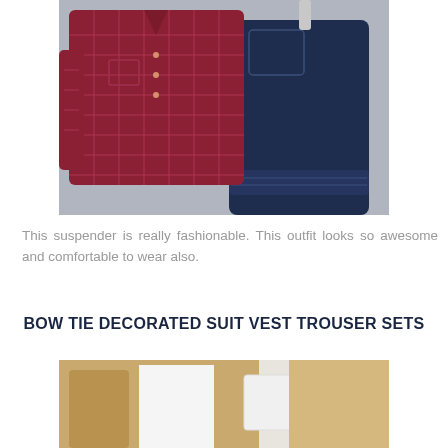[Figure (photo): Children's clothing flat lay: red/maroon plaid long-sleeve button-up shirt and navy blue elastic-waist pants with white stitch detailing, laid on a gray background]
This suspender is really fashionable. This outfit looks so awesome and comfortable to wear also.
BOW TIE DECORATED SUIT VEST TROUSER SETS
[Figure (photo): Partial view of another children's clothing set showing a brown/tan vest suit with a white shirt underneath, cropped at the bottom of the page]